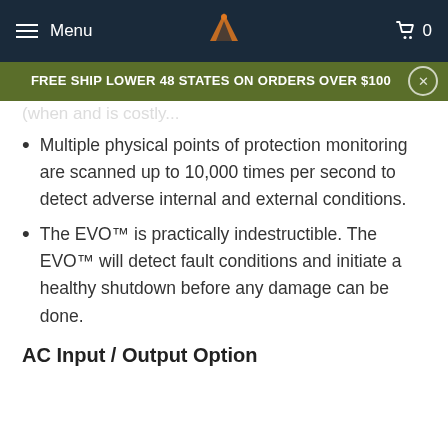Menu | [logo] | Cart 0
FREE SHIP LOWER 48 STATES ON ORDERS OVER $100
Multiple physical points of protection monitoring are scanned up to 10,000 times per second to detect adverse internal and external conditions.
The EVO™ is practically indestructible. The EVO™ will detect fault conditions and initiate a healthy shutdown before any damage can be done.
AC Input / Output Option